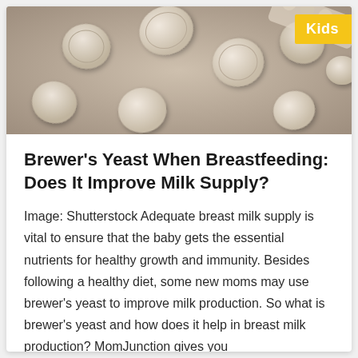[Figure (photo): Photograph of white round pill/tablet supplements scattered on a surface, with a yellow 'Kids' badge overlay in the top-right corner.]
Brewer's Yeast When Breastfeeding: Does It Improve Milk Supply?
Image: Shutterstock Adequate breast milk supply is vital to ensure that the baby gets the essential nutrients for healthy growth and immunity. Besides following a healthy diet, some new moms may use brewer's yeast to improve milk production. So what is brewer's yeast and how does it help in breast milk production? MomJunction gives you
… read more
October 17, 2018